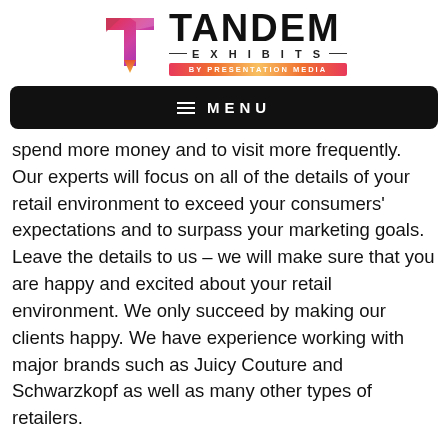[Figure (logo): Tandem Exhibits by Presentation Media logo with geometric T icon in pink/red/purple gradient and text]
MENU
spend more money and to visit more frequently. Our experts will focus on all of the details of your retail environment to exceed your consumers' expectations and to surpass your marketing goals. Leave the details to us – we will make sure that you are happy and excited about your retail environment. We only succeed by making our clients happy. We have experience working with major brands such as Juicy Couture and Schwarzkopf as well as many other types of retailers.